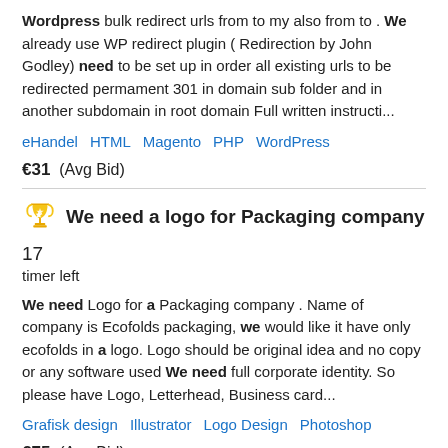Wordpress bulk redirect urls from to my also from to . We already use WP redirect plugin ( Redirection by John Godley) need to be set up in order all existing urls to be redirected permament 301 in domain sub folder and in another subdomain in root domain Full written instructi...
eHandel   HTML   Magento   PHP   WordPress
€31  (Avg Bid)
We need a logo for Packaging company  17 timer left
We need Logo for a Packaging company . Name of company is Ecofolds packaging, we would like it have only ecofolds in a logo. Logo should be original idea and no copy or any software used We need full corporate identity. So please have Logo, Letterhead, Business card...
Grafisk design   Illustrator   Logo Design   Photoshop
€75  (Avg Bid)